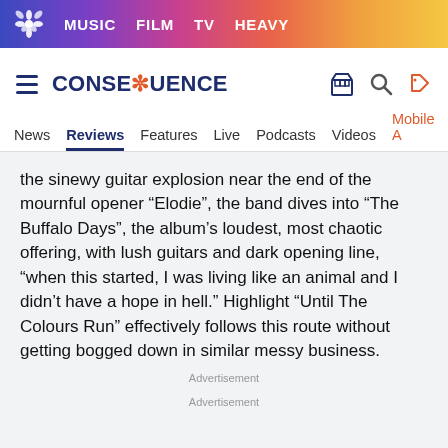MUSIC  FILM  TV  HEAVY
CONSEQUENCE
News  Reviews  Features  Live  Podcasts  Videos  Mobile A
the sinewy guitar explosion near the end of the mournful opener “Elodie”, the band dives into “The Buffalo Days”, the album’s loudest, most chaotic offering, with lush guitars and dark opening line, “when this started, I was living like an animal and I didn’t have a hope in hell.” Highlight “Until The Colours Run” effectively follows this route without getting bogged down in similar messy business.
Advertisement
Advertisement